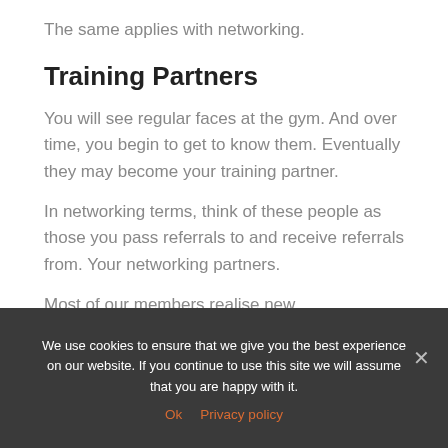The same applies with networking.
Training Partners
You will see regular faces at the gym. And over time, you begin to get to know them. Eventually they may become your training partner.
In networking terms, think of these people as those you pass referrals to and receive referrals from. Your networking partners.
Most of our members realise new
We use cookies to ensure that we give you the best experience on our website. If you continue to use this site we will assume that you are happy with it.
Ok   Privacy policy